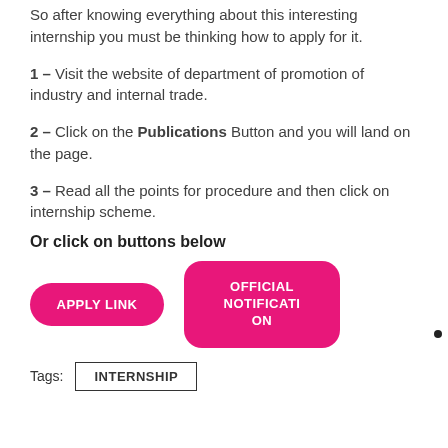So after knowing everything about this interesting internship you must be thinking how to apply for it.
1 – Visit the website of department of promotion of industry and internal trade.
2 – Click on the Publications Button and you will land on the page.
3 – Read all the points for procedure and then click on internship scheme.
Or click on buttons below
[Figure (other): Two pink buttons labeled APPLY LINK and OFFICIAL NOTIFICATION]
Tags: INTERNSHIP